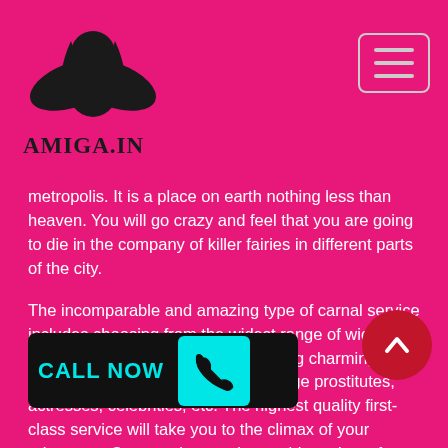[Figure (logo): Amiga.in website logo with angel/fairy illustration and text AMIGA.IN]
[Figure (other): Hamburger menu icon (three horizontal lines) with rounded rectangle border]
metropolis. It is a place on earth nothing less than heaven. You will go crazy and feel that you are going to die in the company of killer fairies in different parts of the city.
The incomparable and amazing type of carnal service includes choosing from the widest range of wide and attractive women to the eye, including charming hostesses, housewife, models, college prostitutes, actresses, celebrities, etc. The highest quality first-class service will take you to the climax of your adventure. Opportunity to enjoy a wide variety of physically enjoyable acts; Undefeated class professionalism; Security and confidentiality of personal or corporate identity; Reliability at the highest level.
HOW CAN YOU MISS THE BELOVED
[Figure (other): Scroll-to-top circular red button with upward chevron arrow]
[Figure (other): CALL NOW button in black with cyan text and phone icon on teal background]